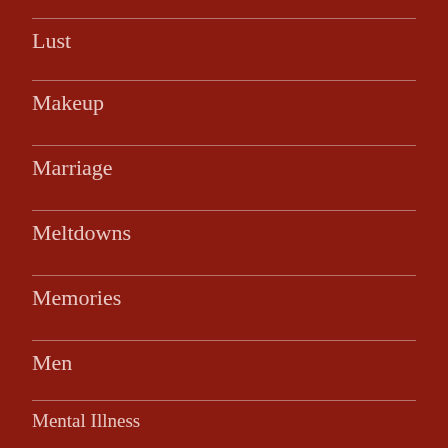Lust
Makeup
Marriage
Meltdowns
Memories
Men
Mental Illness
Mindfulness